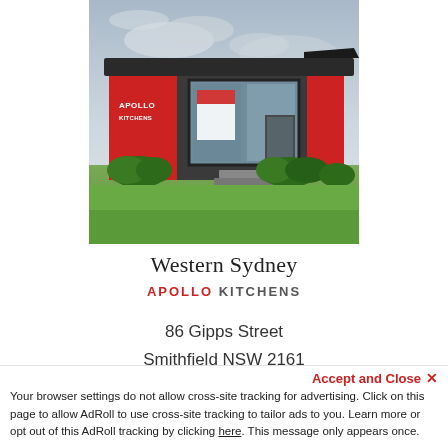[Figure (photo): Exterior photo of Apollo Kitchens showroom in Western Sydney — a modern low-rise building with dark grey and red cladding, large glass windows, lawn and hedges in the foreground, overcast sky.]
Western Sydney
APOLLO KITCHENS
86 Gipps Street
Smithfield NSW 2161
Open Location ›
Accept and Close ✕
Your browser settings do not allow cross-site tracking for advertising. Click on this page to allow AdRoll to use cross-site tracking to tailor ads to you. Learn more or opt out of this AdRoll tracking by clicking here. This message only appears once.